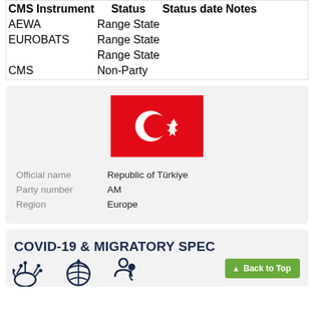| CMS Instrument | Status | Status date | Notes |
| --- | --- | --- | --- |
| AEWA | Range State |  |  |
| EUROBATS | Range State |  |  |
|  | Range State |  |  |
| CMS | Non-Party |  |  |
[Figure (illustration): Flag of Turkey — red background with white crescent and star]
Official name: Republic of Türkiye
Party number: AM
Region: Europe
COVID-19 & MIGRATORY SPEC
[Figure (infographic): COVID-19 and migratory species icons at the bottom of the page]